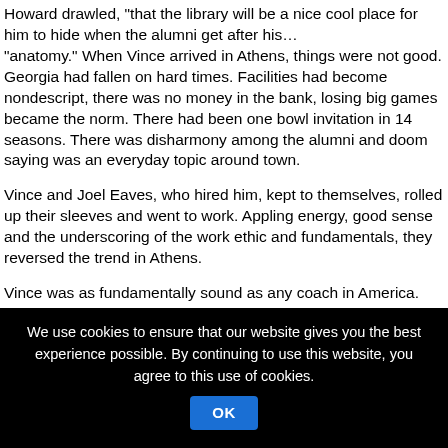Howard drawled, "that the library will be a nice cool place for him to hide when the alumni get after his… "anatomy." When Vince arrived in Athens, things were not good. Georgia had fallen on hard times. Facilities had become nondescript, there was no money in the bank, losing big games became the norm. There had been one bowl invitation in 14 seasons. There was disharmony among the alumni and doom saying was an everyday topic around town.
Vince and Joel Eaves, who hired him, kept to themselves, rolled up their sleeves and went to work. Appling energy, good sense and the underscoring of the work ethic and fundamentals, they reversed the trend in Athens.
Vince was as fundamentally sound as any coach in America. Right away, he and his coaching staff played an
We use cookies to ensure that our website gives you the best experience possible. By continuing to use this website, you agree to this use of cookies.